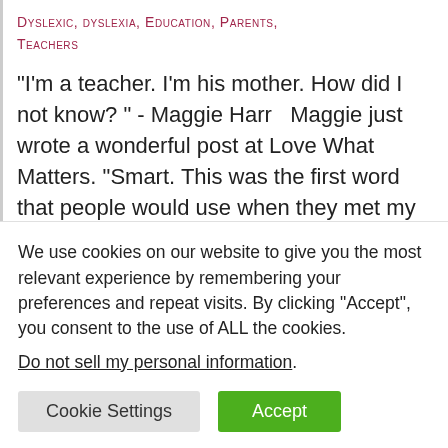Dyslexic, dyslexia, Education, Parents, Teachers
"I'm a teacher. I'm his mother. How did I not know? " - Maggie Harr   Maggie just wrote a wonderful post at Love What Matters. “Smart. This was the first word that people would use when they met my son Aiden. He was precocious and funny, assertive and confident.
We use cookies on our website to give you the most relevant experience by remembering your preferences and repeat visits. By clicking “Accept”, you consent to the use of ALL the cookies.
Do not sell my personal information.